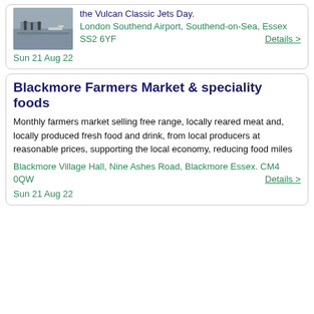[Figure (photo): Thumbnail photo of an airfield/airport scene with people and aircraft]
the Vulcan Classic Jets Day. London Southend Airport, Southend-on-Sea, Essex SS2 6YF   Details >
Sun 21 Aug 22
Blackmore Farmers Market & speciality foods
Monthly farmers market selling free range, locally reared meat and, locally produced fresh food and drink, from local producers at reasonable prices, supporting the local economy, reducing food miles
Blackmore Village Hall, Nine Ashes Road, Blackmore Essex. CM4 0QW   Details >
Sun 21 Aug 22